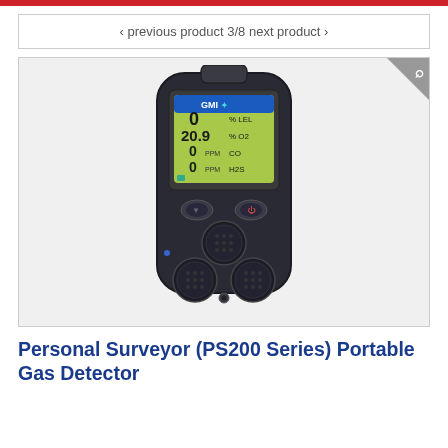< previous product  3/8  next product >
[Figure (photo): GMI Personal Surveyor PS200 Series portable gas detector - handheld black device with green LCD display showing 0% LEL, 20.9% O2, 0 PPM CO, 0 PPM H2S readings, two buttons, and four sensor ports at bottom]
Personal Surveyor (PS200 Series) Portable Gas Detector